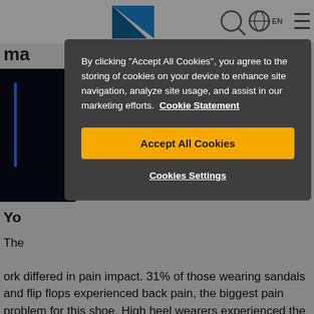[Figure (screenshot): Website header with partial logo (blue triangle) and 'ma' text visible, navigation icons on right]
[Figure (screenshot): Dark blue/black image strip on left with an arrow indicator on the right side]
Yo
The ...ork differed in pain impact. 31% of those wearing sandals and flip flops experienced back pain, the biggest pain problem for this shoe. High heel wearers experienced the most ankle and neck pain, 31% and 22%. However, the most popular shoe for work is trainers, 34% wear them to work. Yet despite this
[Figure (screenshot): Cookie consent modal dialog with dark background. Contains text: By clicking "Accept All Cookies", you agree to the storing of cookies on your device to enhance site navigation, analyze site usage, and assist in our marketing efforts. Cookie Statement. With Accept All Cookies button (amber/yellow) and Cookies Settings link.]